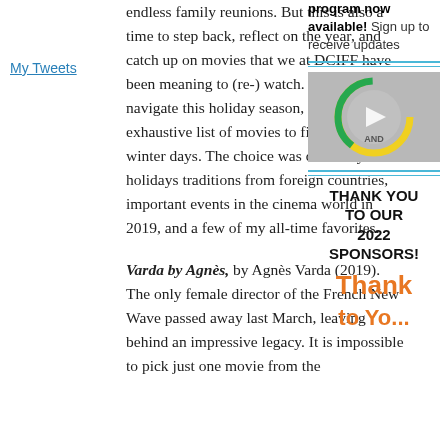My Tweets
endless family reunions. But this is also a time to step back, reflect on the year, and catch up on movies that we at DCIFF have been meaning to (re-) watch. To help you navigate this holiday season, here is a non-exhaustive list of movies to fill your cold winter days. The choice was driven by some holidays traditions from foreign countries, important events in the cinema world in 2019, and a few of my all-time favorites.
Varda by Agnès, by Agnès Varda (2019). The only female director of the French New Wave passed away last March, leaving behind an impressive legacy. It is impossible to pick just one movie from the
program now available! Sign up to receive updates
[Figure (screenshot): Video thumbnail showing a circular loading/play indicator with green and yellow arcs on a gray background, with a white play triangle and text 'AND' in the center.]
THANK YOU TO OUR 2022 SPONSORS!
Thank to Yo...